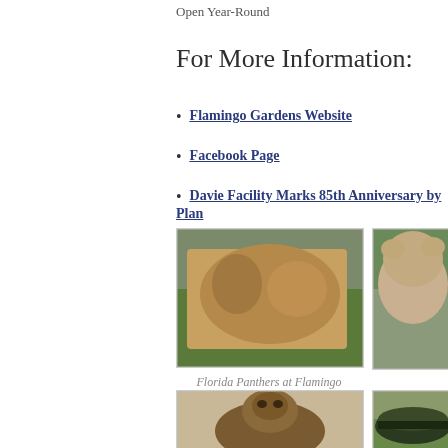Open Year-Round
For More Information:
Flamingo Gardens Website
Facebook Page
Davie Facility Marks 85th Anniversary by Plan…
[Figure (photo): Florida panther cub climbing or playing, photo at Flamingo Gardens]
[Figure (photo): Florida panther adult close-up, at Flamingo Gardens]
Florida Panthers at Flamingo Gardens in Davie, Florida
[Figure (photo): River otter sitting upright on sandy ground]
[Figure (photo): Alligator with open mouth on grass]